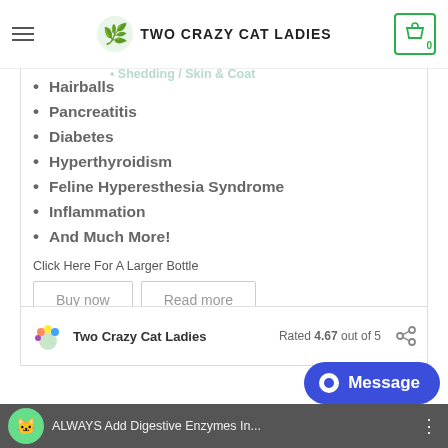Two Crazy Cat Ladies — navigation bar with logo and cart (0)
Arthritis
Immunity Support
Digestive Health
Shedding / Skin & Coat
Hairballs
Pancreatitis
Diabetes
Hyperthyroidism
Feline Hyperesthesia Syndrome
Inflammation
And Much More!
Click Here For A Larger Bottle
Buy now   Read more
Two Crazy Cat Ladies   Rated 4.67 out of 5
ALWAYS Add Digestive Enzymes In...